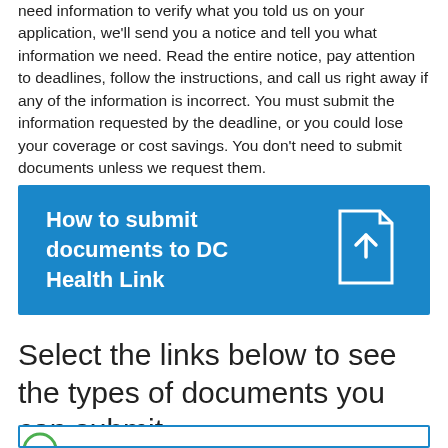need information to verify what you told us on your application, we'll send you a notice and tell you what information we need. Read the entire notice, pay attention to deadlines, follow the instructions, and call us right away if any of the information is incorrect. You must submit the information requested by the deadline, or you could lose your coverage or cost savings. You don't need to submit documents unless we request them.
[Figure (infographic): Blue banner with text 'How to submit documents to DC Health Link' and a white document upload icon on the right]
Select the links below to see the types of documents you can submit.
[Figure (infographic): Partial white box with blue border, green circle partially visible at the bottom]